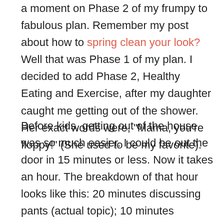a moment on Phase 2 of my frumpy to fabulous plan. Remember my post about how to spring clean your look? Well that was Phase 1 of my plan. I decided to add Phase 2, Healthy Eating and Exercise, after my daughter caught me getting out of the shower. Her exact words were, "Mama, you're floppy!" (She used to be my favorite).
Before kids, getting out of the house was so much easier. I could be out the door in 15 minutes or less. Now it takes an hour. The breakdown of that hour looks like this: 20 minutes discussing pants (actual topic); 10 minutes spinning in circles before putting on socks; 10 minutes answering questions about socks; 5 minutes wrestling shoes onto toddlers; 10 minutes countering complaints about having to leave the house; 3 minutes 30 seconds just to cross over the threshold to the outside world; and 1 minute 30 seconds to count every single flower on the